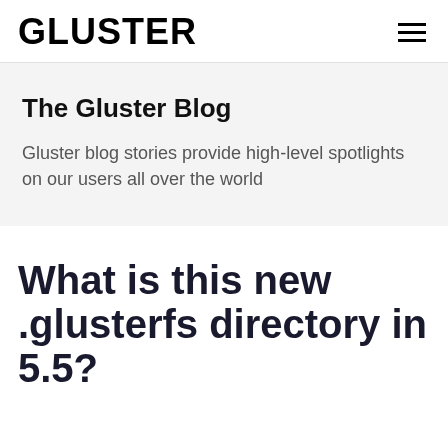GLUSTER
The Gluster Blog
Gluster blog stories provide high-level spotlights on our users all over the world
What is this new .glusterfs directory in 5.5?